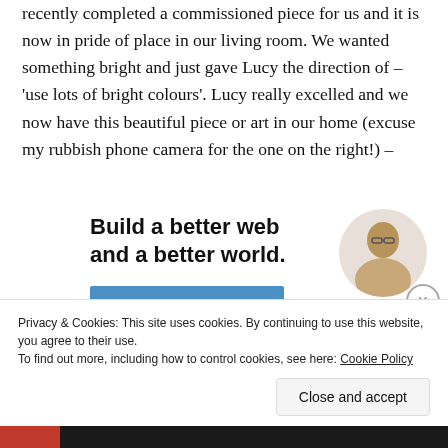recently completed a commissioned piece for us and it is now in pride of place in our living room. We wanted something bright and just gave Lucy the direction of – 'use lots of bright colours'. Lucy really excelled and we now have this beautiful piece or art in our home (excuse my rubbish phone camera for the one on the right!) –
[Figure (infographic): Advertisement banner: bold text 'Build a better web and a better world.' with a blue Apply button and a circular photo of a man.]
Privacy & Cookies: This site uses cookies. By continuing to use this website, you agree to their use.
To find out more, including how to control cookies, see here: Cookie Policy
Close and accept